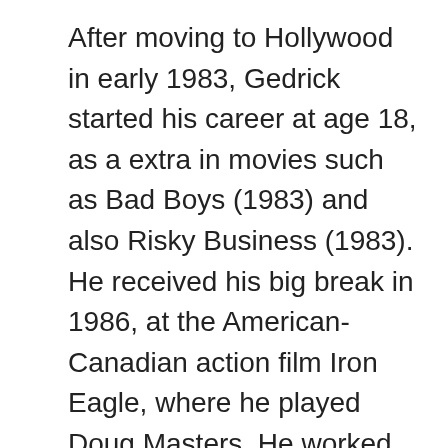After moving to Hollywood in early 1983, Gedrick started his career at age 18, as a extra in movies such as Bad Boys (1983) and also Risky Business (1983). He received his big break in 1986, at the American-Canadian action film Iron Eagle, where he played Doug Masters. He worked really difficult for its job and his performance has been so highly appreciated by the crowd. Due to his hard work and acting abilities, he began getting supplies from famous directors and directors. Back in 1987, he also starred as Davey Hancock at Promised Land. In addition, he appeared as a direct part in 1989 dancing and crime play film Rooftops. Ever since that time, he'd already become a huge name in the business. He emerged as Bailey Connors 22 episodes of 1994-1995 TV movie